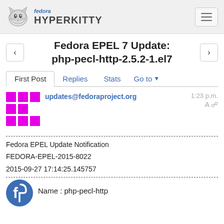fedora HYPERKITTY
Fedora EPEL 7 Update: php-pecl-http-2.5.2-1.el7
First Post  Replies  Stats  Go to
updates@fedoraproject.org  1:23 p.m.
--------------------------------------------------------------------------------
Fedora EPEL Update Notification
FEDORA-EPEL-2015-8022
2015-09-27 17:14:25.145757
--------------------------------------------------------------------------------
Name : php-pecl-http